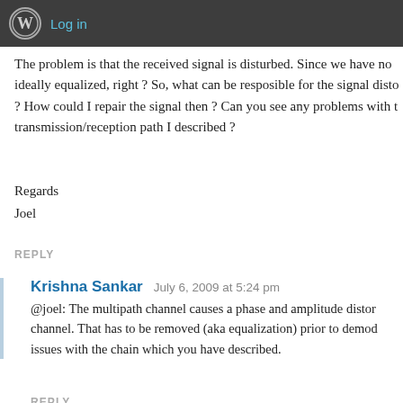Log in
The problem is that the received signal is disturbed. Since we have no ideally equalized, right ? So, what can be resposible for the signal disto ? How could I repair the signal then ? Can you see any problems with t transmission/reception path I described ?
Regards
Joel
REPLY
Krishna Sankar  July 6, 2009 at 5:24 pm
@joel: The multipath channel causes a phase and amplitude distor channel. That has to be removed (aka equalization) prior to demod issues with the chain which you have described.
REPLY
joel  July 8, 2009 at 1:47 am
The thing is, that the equalizer removes the multipath distortion output by the channel impulse response. Since there is no nois